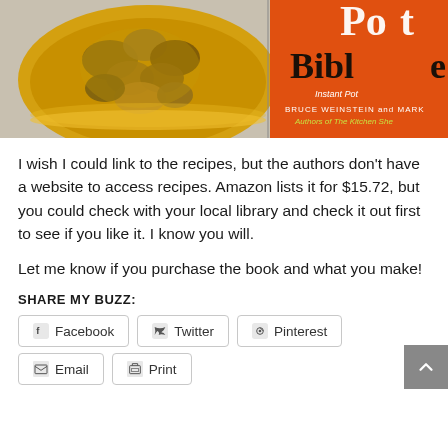[Figure (photo): Photo showing a yellow bowl with cooked food (appears to be curried/spiced chicken pieces) on the left, and a book cover on the right showing 'Pot Bible' with authors Bruce Weinstein and Mark, described as 'Instant Pot' bible on an orange background]
I wish I could link to the recipes, but the authors don't have a website to access recipes.  Amazon lists it for $15.72, but you could check with your local library and check it out first to see if you like it.  I know you will.
Let me know if you purchase the book and what you make!
Share My Buzz:
Facebook
Twitter
Pinterest
Email
Print